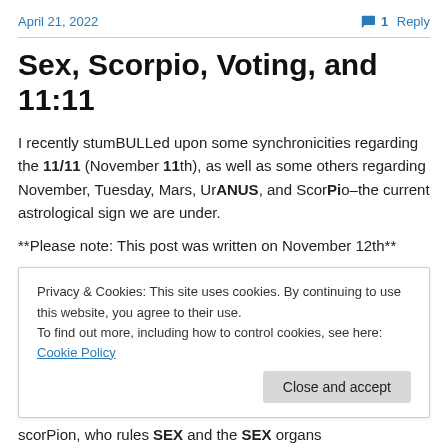April 21, 2022   1 Reply
Sex, Scorpio, Voting, and 11:11
I recently stumBULLed upon some synchronicities regarding the 11/11 (November 11th), as well as some others regarding November, Tuesday, Mars, UrANUS, and ScorPio–the current astrological sign we are under.
**Please note: This post was written on November 12th**
Privacy & Cookies: This site uses cookies. By continuing to use this website, you agree to their use.
To find out more, including how to control cookies, see here: Cookie Policy
scorPion, who rules SEX and the SEX organs